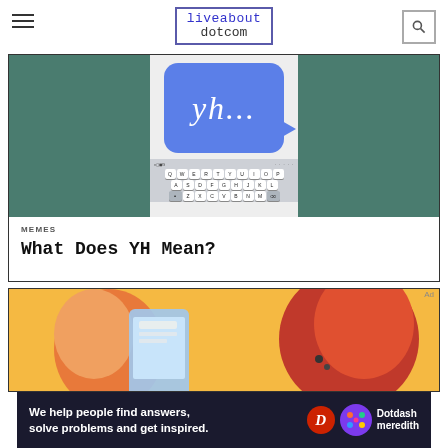liveabout dotcom
[Figure (screenshot): Smartphone screen showing a blue iMessage chat bubble with italic text 'yh...' on a green background, with a QWERTY keyboard visible at the bottom]
MEMES
What Does YH Mean?
[Figure (illustration): Illustration of a person looking at a smartphone]
We help people find answers, solve problems and get inspired.
Dotdash meredith